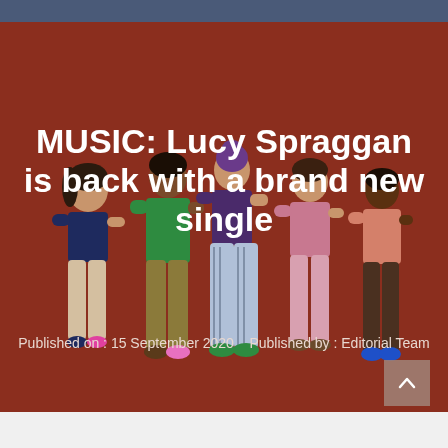[Figure (illustration): Flat vector illustration of five diverse women standing together against a dark red background. Characters wear colorful outfits in navy, green, striped, pink/mauve, and salmon tones.]
MUSIC: Lucy Spraggan is back with a brand new single
Published on : 15 September 2020    Published by : Editorial Team